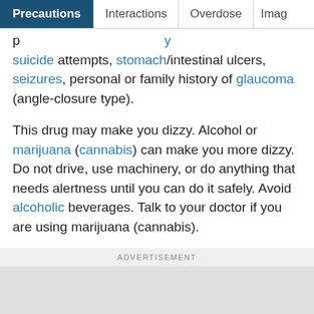Precautions | Interactions | Overdose | Imag
suicide attempts, stomach/intestinal ulcers, seizures, personal or family history of glaucoma (angle-closure type).
This drug may make you dizzy. Alcohol or marijuana (cannabis) can make you more dizzy. Do not drive, use machinery, or do anything that needs alertness until you can do it safely. Avoid alcoholic beverages. Talk to your doctor if you are using marijuana (cannabis).
Before having surgery, tell your doctor or dentist
ADVERTISEMENT